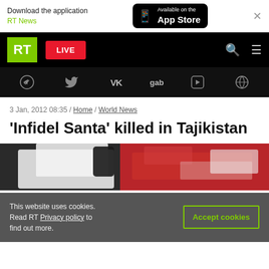[Figure (screenshot): App Store download banner with RT News branding and close button]
[Figure (screenshot): RT website navigation bar with logo, LIVE button, search and menu icons]
[Figure (screenshot): Social media icon bar: Telegram, Twitter, VK, gab, and other icons on black background]
3 Jan, 2012 08:35 / Home / World News
'Infidel Santa' killed in Tajikistan
[Figure (photo): Partial photo showing white and red fabric, possibly a Santa costume, on a dark surface]
This website uses cookies. Read RT Privacy policy to find out more.
Accept cookies